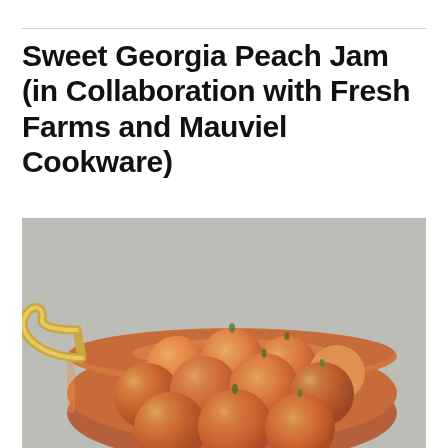Sweet Georgia Peach Jam (in Collaboration with Fresh Farms and Mauviel Cookware)
[Figure (photo): Overhead view of fresh peaches piled in a round copper pot with brass handle, resting on a grey wood-plank surface.]